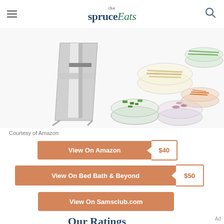the spruce Eats
[Figure (photo): A mandoline slicer surrounded by glass bowls of sliced and chopped vegetables including green peppers, onions, carrots, zucchini, and potatoes on a white background.]
Courtesy of Amazon
View On Amazon $40
View On Bed Bath & Beyond $50
View On Samsclub.com
Our Ratings